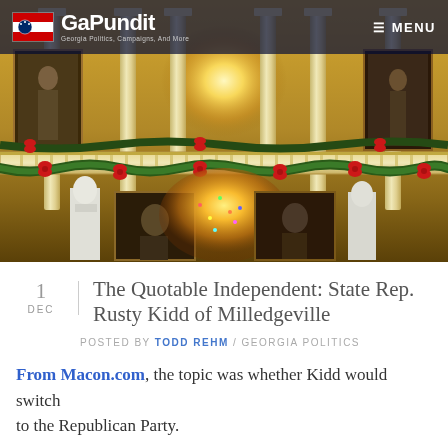[Figure (photo): Interior of Georgia State Capitol building decorated for Christmas. Shows ornate balcony with white columns, garland with red bows, portrait paintings, a lit Christmas tree, and statues below. Bright golden glow from center light source.]
GaPundit — Georgia Politics, Campaigns, And More — MENU
The Quotable Independent: State Rep. Rusty Kidd of Milledgeville
1 DEC
POSTED BY TODD REHM / GEORGIA POLITICS
From Macon.com, the topic was whether Kidd would switch to the Republican Party.